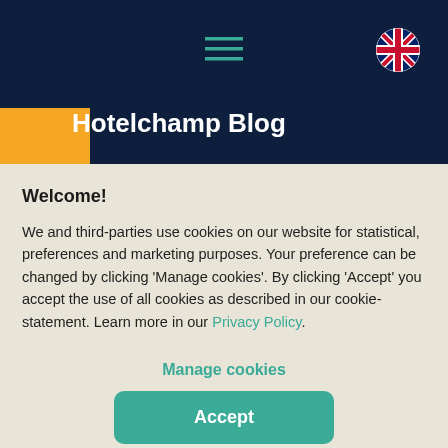Hotelchamp Blog
Welcome!
We and third-parties use cookies on our website for statistical, preferences and marketing purposes. Your preference can be changed by clicking 'Manage cookies'. By clicking 'Accept' you accept the use of all cookies as described in our cookie-statement. Learn more in our Privacy Policy.
Manage cookies
Accept
Get the latest updates